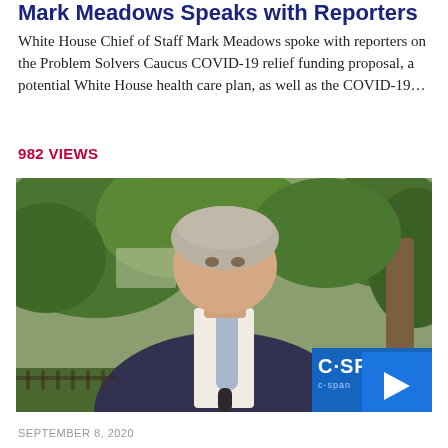Mark Meadows Speaks with Reporters
White House Chief of Staff Mark Meadows spoke with reporters on the Problem Solvers Caucus COVID-19 relief funding proposal, a potential White House health care plan, as well as the COVID-19…
982 VIEWS
[Figure (screenshot): Video thumbnail showing Mark Meadows, White House Chief of Staff, speaking outdoors in front of trees and White House grounds. C-SPAN logo and play button visible in bottom right corner.]
SEPTEMBER 8, 2020
LAST AIRED SEPTEMBER 8, 2020
Mark Meadows Speaks with R...